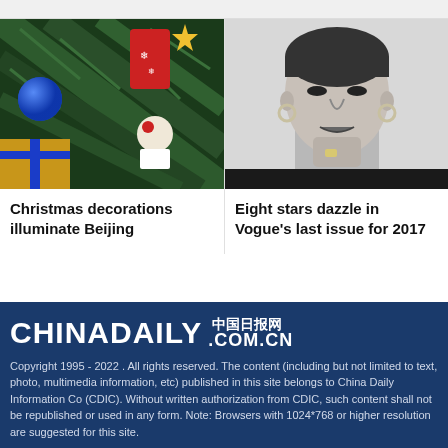[Figure (photo): Christmas decorations with gifts, ornaments, and pine tree branches in color photo]
Christmas decorations illuminate Beijing
[Figure (photo): Black and white portrait of a woman touching her chin, wearing earrings and a ring]
Eight stars dazzle in Vogue's last issue for 2017
[Figure (logo): China Daily logo with Chinese characters and .com.cn]
Copyright 1995 - 2022 . All rights reserved. The content (including but not limited to text, photo, multimedia information, etc) published in this site belongs to China Daily Information Co (CDIC). Without written authorization from CDIC, such content shall not be republished or used in any form. Note: Browsers with 1024*768 or higher resolution are suggested for this site.